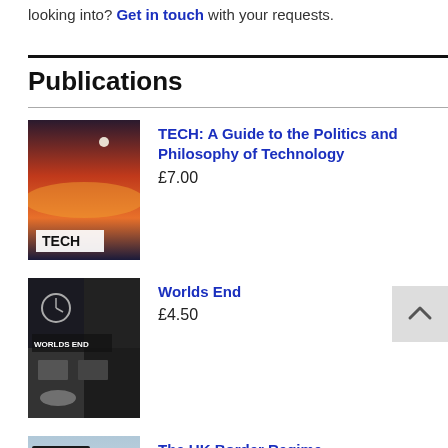looking into? Get in touch with your requests.
Publications
TECH: A Guide to the Politics and Philosophy of Technology £7.00
Worlds End £4.50
The UK Border Regime £9.00
Prison Island £3.00